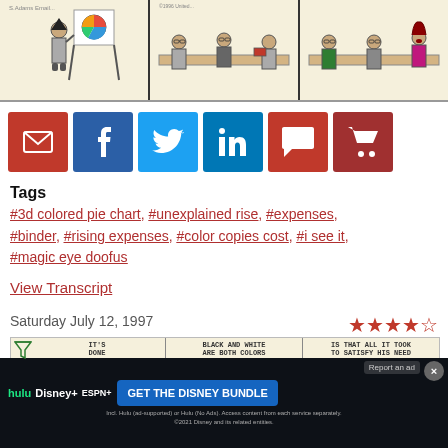[Figure (illustration): Dilbert comic strip, three panels. First panel: character pointing at a pie chart on a board. Second panel: characters sitting at a meeting table. Third panel: characters at meeting table with one talking.]
[Figure (infographic): Row of social sharing buttons: email (red), Facebook (blue), Twitter (light blue), LinkedIn (blue), comment (red), cart (dark red)]
Tags
#3d colored pie chart, #unexplained rise, #expenses, #binder, #rising expenses, #color copies cost, #i see it, #magic eye doofus
View Transcript
Saturday July 12, 1997
[Figure (illustration): Star rating: 4 and a half stars out of 5]
[Figure (illustration): Second Dilbert comic strip panels partially visible. Panel text includes: IT'S DONE, BLACK AND WHITE ARE BOTH COLORS SO TECHNICALLY..., IS THAT ALL IT TOOK TO SATISFY HIS NEED. Filter icon visible on left.]
[Figure (advertisement): Disney Bundle advertisement banner: hulu, Disney+, ESPN+ logos. GET THE DISNEY BUNDLE button. Incl. Hulu (ad-supported) or Hulu (No Ads). Access content from each service separately. ©2021 Disney and its related entities.]